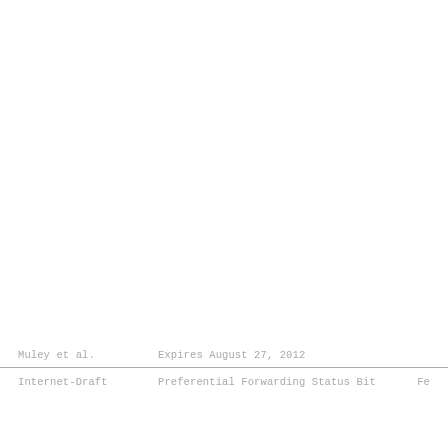Muley et al.                    Expires August 27, 2012
Internet-Draft      Preferential Forwarding Status Bit   Fe